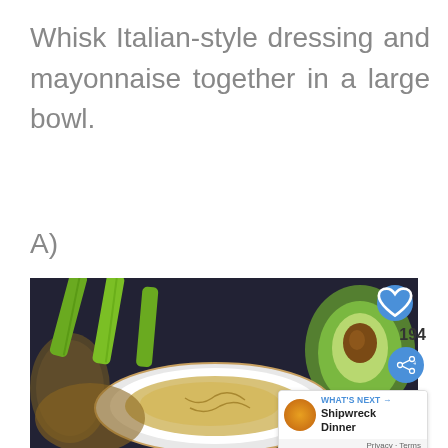Whisk Italian-style dressing and mayonnaise together in a large bowl.
A)
[Figure (photo): Food photo showing celery stalks, a halved avocado, a white plate with dressing/sauce, and a wooden cutting board on a dark background. Overlay elements include a heart/like button, share button showing count 194, and a 'What's Next' card for Shipwreck Dinner.]